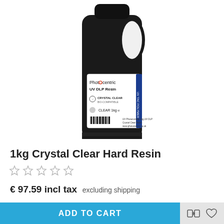[Figure (photo): A black 1kg bottle of Photocentric UV DLP Resin Crystal Clear Hard Resin with a white label showing product details and barcode]
1kg Crystal Clear Hard Resin
☆ ☆ ☆ ☆ ☆
€ 97.59 incl tax  excluding shipping
ADD TO CART